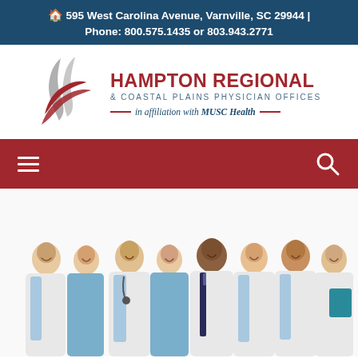595 West Carolina Avenue, Varnville, SC 29944 | Phone: 800.575.1435 or 803.943.2771
[Figure (logo): Hampton Regional & Coastal Plains Physician Offices logo with stylized red and gray feather/flame mark, in affiliation with MUSC Health]
[Figure (other): Navigation bar with hamburger menu icon on left and search icon on right, dark red/maroon background]
[Figure (photo): Group of seven medical professionals in white lab coats and scrubs standing together, smiling, against a white background]